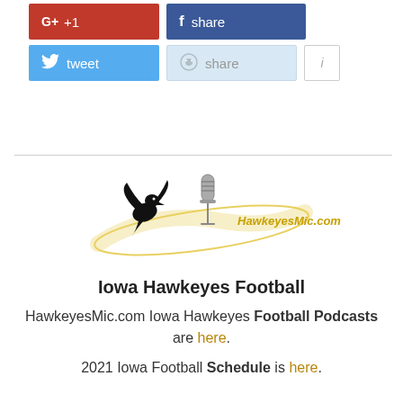[Figure (infographic): Social sharing buttons: Google+ +1 (red), Facebook share (dark blue), Twitter tweet (light blue), Reddit share (light blue), info button (white with border)]
[Figure (logo): HawkeyesMic.com logo featuring a black hawk silhouette, a microphone, and a yellow swoosh with HawkeyesMic.com text]
Iowa Hawkeyes Football
HawkeyesMic.com Iowa Hawkeyes Football Podcasts are here.
2021 Iowa Football Schedule is here.